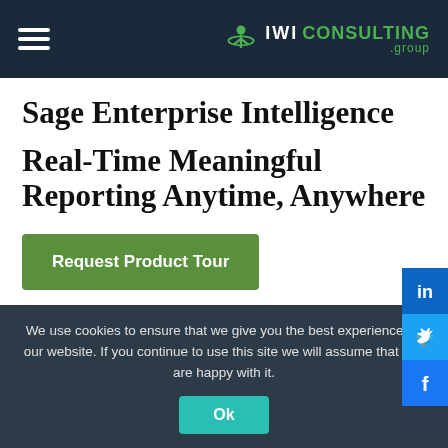IWI CONSULTING group
Sage Enterprise Intelligence
Real-Time Meaningful Reporting Anytime, Anywhere
Request Product Tour
We use cookies to ensure that we give you the best experience on our website. If you continue to use this site we will assume that you are happy with it.
Ok